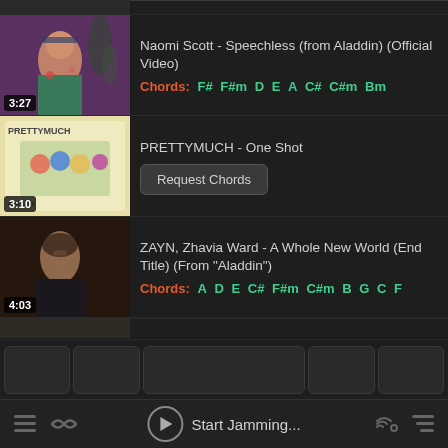[Figure (screenshot): Partial top video thumbnail row]
Naomi Scott - Speechless (from Aladdin) (Official Video) | Chords: F# F#m D E A C# C#m Bm | Duration: 3:27
PRETTYMUCH - One Shot | Request Chords | Duration: 3:10
ZAYN, Zhavia Ward - A Whole New World (End Title) (From "Aladdin") | Chords: A D E C# F#m C#m B G C F | Duration: 4:03
[Figure (screenshot): Partial bottom video thumbnail row]
Start Jamming...